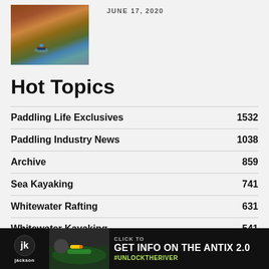[Figure (photo): Photo of a kayaker on a river with orange rock canyon walls in the background]
JUNE 17, 2020
Hot Topics
Paddling Life Exclusives 1532
Paddling Industry News 1038
Archive 859
Sea Kayaking 741
Whitewater Rafting 631
Whitewater Kayaking 541
Destinations 380
Canoeing 328
- Advertisement -
[Figure (advertisement): Jackson Kayak advertisement - Click to Get Info on the Antix 2.0 #UnlockTheRiver]